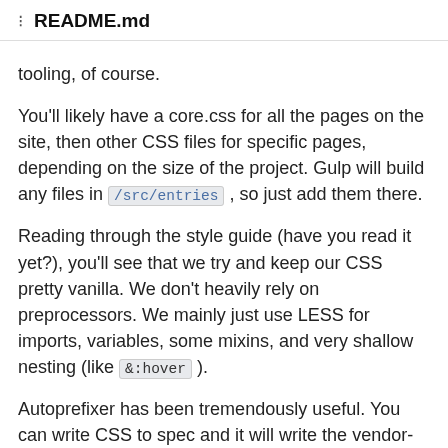README.md
tooling, of course.
You'll likely have a core.css for all the pages on the site, then other CSS files for specific pages, depending on the size of the project. Gulp will build any files in /src/entries , so just add them there.
Reading through the style guide (have you read it yet?), you'll see that we try and keep our CSS pretty vanilla. We don't heavily rely on preprocessors. We mainly just use LESS for imports, variables, some mixins, and very shallow nesting (like &:hover ).
Autoprefixer has been tremendously useful. You can write CSS to spec and it will write the vendor-prefixed declarations for you. No more -webkit-* . If we drop browsers in the future, all we have to do is change the browser list in the gulpfile. See browserslist for